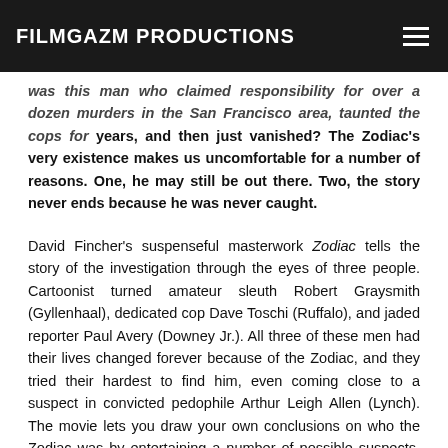FILMGAZM PRODUCTIONS
was this man who claimed responsibility for over a dozen murders in the San Francisco area, taunted the cops for years, and then just vanished? The Zodiac's very existence makes us uncomfortable for a number of reasons. One, he may still be out there. Two, the story never ends because he was never caught.
David Fincher's suspenseful masterwork Zodiac tells the story of the investigation through the eyes of three people. Cartoonist turned amateur sleuth Robert Graysmith (Gyllenhaal), dedicated cop Dave Toschi (Ruffalo), and jaded reporter Paul Avery (Downey Jr.). All three of these men had their lives changed forever because of the Zodiac, and they tried their hardest to find him, even coming close to a suspect in convicted pedophile Arthur Leigh Allen (Lynch). The movie lets you draw your own conclusions on who the Zodiac was by entertaining a number of possible suspects. But if you look at the overwhelming amount of circumstantia